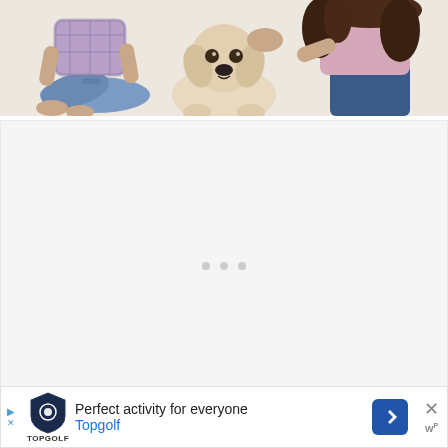[Figure (photo): Photo of two children sitting on a white carpet with a yellow Labrador puppy between them. One child wears a plaid shirt and jeans, the other has curly hair and a light pink top, both petting the puppy.]
[Figure (other): Large white/light gray placeholder content area with three small gray dots centered near the bottom, indicating loading or a carousel indicator.]
Perfect activity for everyone Topgolf